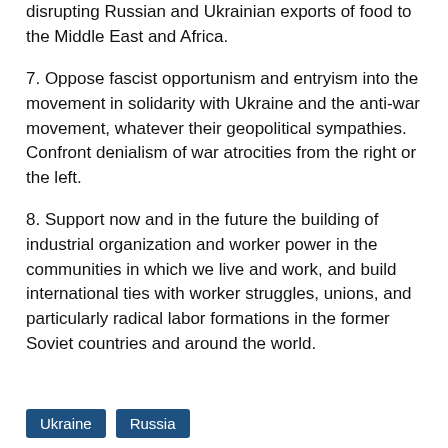disrupting Russian and Ukrainian exports of food to the Middle East and Africa.
7. Oppose fascist opportunism and entryism into the movement in solidarity with Ukraine and the anti-war movement, whatever their geopolitical sympathies. Confront denialism of war atrocities from the right or the left.
8. Support now and in the future the building of industrial organization and worker power in the communities in which we live and work, and build international ties with worker struggles, unions, and particularly radical labor formations in the former Soviet countries and around the world.
Ukraine  Russia